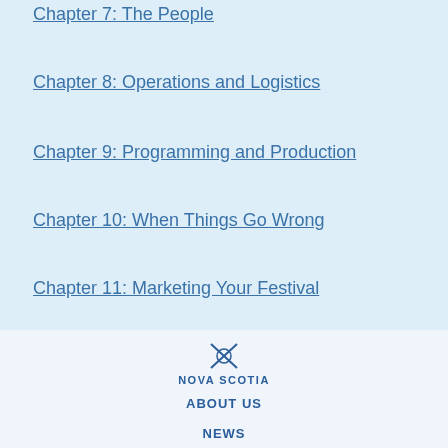Chapter 7: The People
Chapter 8: Operations and Logistics
Chapter 9: Programming and Production
Chapter 10: When Things Go Wrong
Chapter 11: Marketing Your Festival
Chapter 12: Post-Event Evaluation and Planning
[Figure (logo): Nova Scotia government logo with crossed swords emblem and text NOVA SCOTIA]
ABOUT US
NEWS